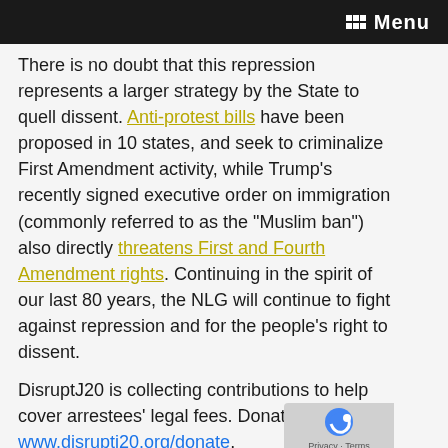Menu
There is no doubt that this repression represents a larger strategy by the State to quell dissent. Anti-protest bills have been proposed in 10 states, and seek to criminalize First Amendment activity, while Trump's recently signed executive order on immigration (commonly referred to as the “Muslim ban”) also directly threatens First and Fourth Amendment rights. Continuing in the spirit of our last 80 years, the NLG will continue to fight against repression and for the people’s right to dissent.
DisruptJ20 is collecting contributions to help cover arrestees’ legal fees. Donate at www.disruptj20.org/donate.
Update 2/7/17: Sign the petition calling f...